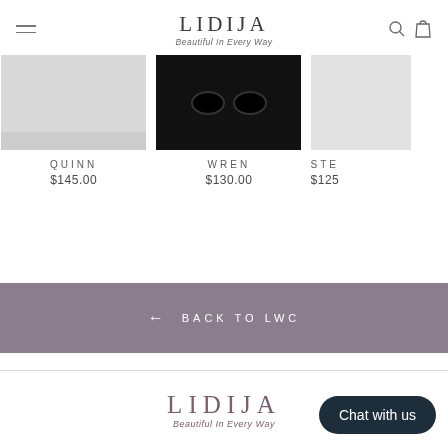LIDIJA Beautiful In Every Way
[Figure (photo): Product image - QUINN sunglasses/accessory, light grey background]
QUINN
$145.00
[Figure (photo): Product image - WREN sunglasses on dark background]
WREN
$130.00
[Figure (photo): Partial product image - STE... item, price $125]
STE...
$125
← BACK TO LWC
LIDIJA Beautiful In Every Way
Chat with us